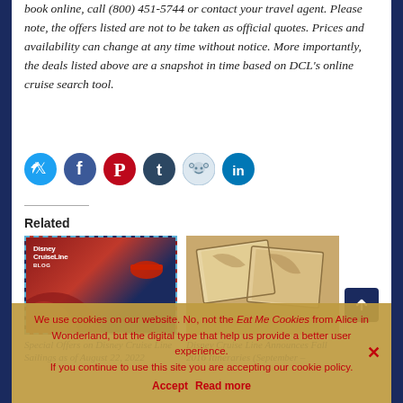book online, call (800) 451-5744 or contact your travel agent. Please note, the offers listed are not to be taken as official quotes. Prices and availability can change at any time without notice. More importantly, the deals listed above are a snapshot in time based on DCL's online cruise search tool.
[Figure (infographic): Social sharing buttons row: Twitter (light blue), Facebook (blue), Pinterest (red), Tumblr (dark navy), Reddit (light blue/grey), LinkedIn (teal)]
Related
[Figure (illustration): Disney Cruise Line Blog thumbnail image with red and navy background and dashed blue border]
Special Offers on Disney Cruise Line Sailings as of August 22, 2022
[Figure (illustration): Disney Cruise Line map/letters themed thumbnail image with aged paper background]
Disney Cruise Line Announces Fall 2016 Itineraries (September –
We use cookies on our website. No, not the Eat Me Cookies from Alice in Wonderland, but the digital type that help us provide a better user experience. If you continue to use this site you are accepting our cookie policy.
Accept   Read more